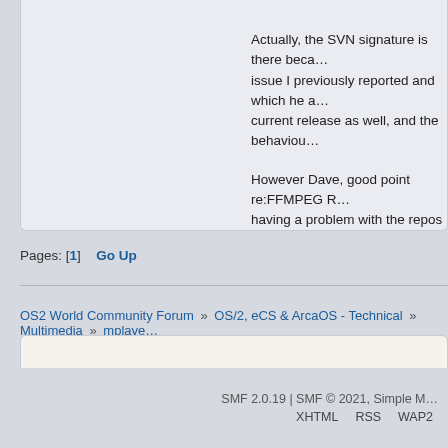Actually, the SVN signature is there because of an issue I previously reported and which he applied to the current release as well, and the behaviour...
However Dave, good point re:FFMPEG R... having a problem with the repos at the mo... time to replace the numerous other versio...
Pages: [1]   Go Up
OS2 World Community Forum » OS/2, eCS & ArcaOS - Technical » Multimedia » mplaye...
SMF 2.0.19 | SMF © 2021, Simple M...
XHTML   RSS   WAP2